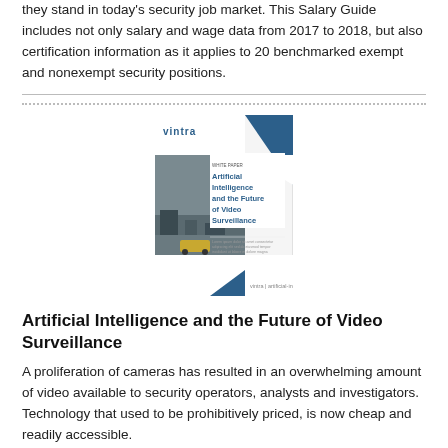they stand in today's security job market. This Salary Guide includes not only salary and wage data from 2017 to 2018, but also certification information as it applies to 20 benchmarked exempt and nonexempt security positions.
[Figure (illustration): Book cover for 'Artificial Intelligence and the Future of Video Surveillance' by Vintra, showing a street scene with cameras and a diagonal design element.]
Artificial Intelligence and the Future of Video Surveillance
A proliferation of cameras has resulted in an overwhelming amount of video available to security operators, analysts and investigators. Technology that used to be prohibitively priced, is now cheap and readily accessible.